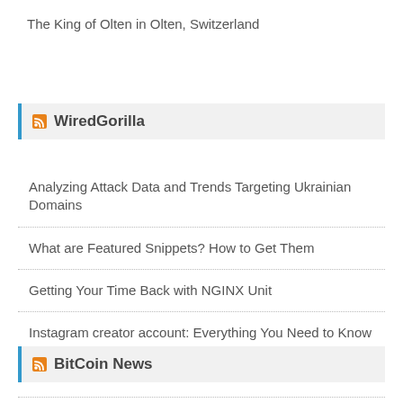The King of Olten in Olten, Switzerland
WiredGorilla
Analyzing Attack Data and Trends Targeting Ukrainian Domains
What are Featured Snippets? How to Get Them
Getting Your Time Back with NGINX Unit
Instagram creator account: Everything You Need to Know
Top 5 IoT challenges and how to solve them
BitCoin News